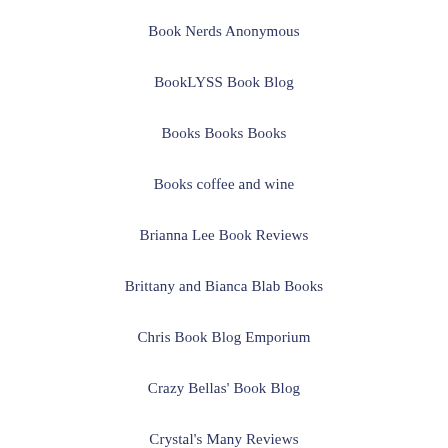Book Nerds Anonymous
BookLYSS Book Blog
Books Books Books
Books coffee and wine
Brianna Lee Book Reviews
Brittany and Bianca Blab Books
Chris Book Blog Emporium
Crazy Bellas' Book Blog
Crystal's Many Reviews